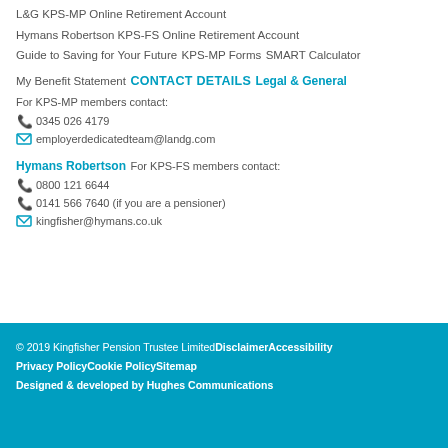L&G KPS-MP Online Retirement Account
Hymans Robertson KPS-FS Online Retirement Account
Guide to Saving for Your Future
KPS-MP Forms
SMART Calculator
My Benefit Statement
CONTACT DETAILS
Legal & General
For KPS-MP members contact:
📞 0345 026 4179
✉ employerdedicatedteam@landg.com
Hymans Robertson
For KPS-FS members contact:
📞 0800 121 6644
📞 0141 566 7640 (if you are a pensioner)
✉ kingfisher@hymans.co.uk
© 2019 Kingfisher Pension Trustee LimitedDisclaimerAccessibility Privacy PolicyCookie PolicySitemap Designed & developed by Hughes Communications